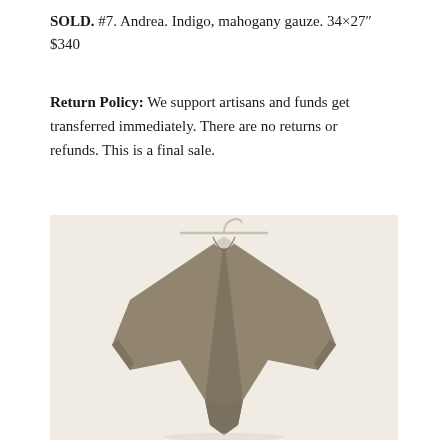SOLD. #7. Andrea. Indigo, mahogany gauze. 34×27" $340
Return Policy: We support artisans and funds get transferred immediately. There are no returns or refunds. This is a final sale.
[Figure (photo): A taupe/khaki colored poncho or wrap garment hanging on a hanger against a light cream wall. The garment has a V-neck, wide flowing silhouette with short sleeves and an asymmetric hemline.]